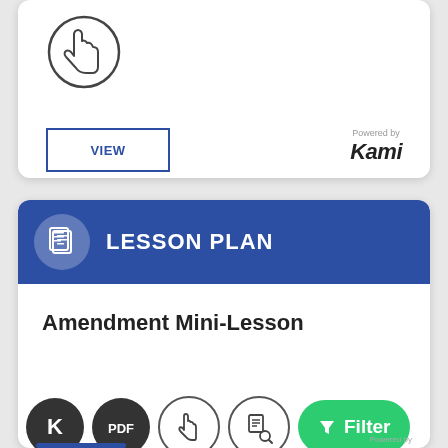[Figure (illustration): Hand/cursor icon inside a circle, dark outline style]
VIEW
Powered by Kami
LESSON PLAN
Amendment Mini-Lesson
[Figure (illustration): Row of icons: K logo (dark circle), PDF (dark circle), hand/cursor (outline circle), document-magnify (outline circle), and a green Filter button]
Powered by